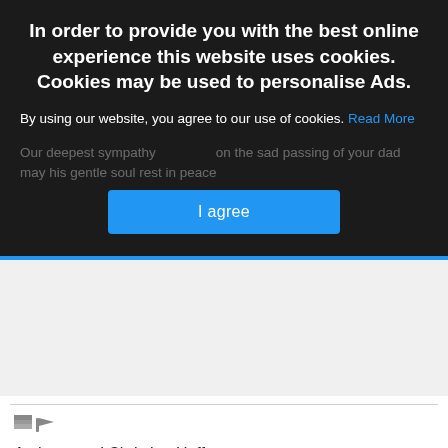[Figure (screenshot): Cookie consent overlay on a dark semi-transparent background with bold white title text, a consent message with a blue 'Read More' link, and a blue 'I agree' button. Below the overlay is partially visible greyed-out text.]
Anthony and Christine Heffron
5 months 13 days
Deepest sympathy to the Golden and Hennigan family on the passing of Michael may he rest in peace